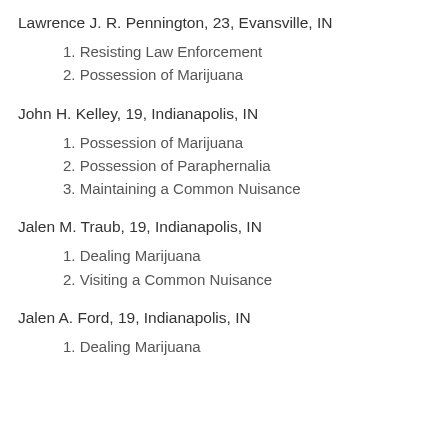Lawrence J. R. Pennington, 23, Evansville, IN
1. Resisting Law Enforcement
2. Possession of Marijuana
John H. Kelley, 19, Indianapolis, IN
1. Possession of Marijuana
2. Possession of Paraphernalia
3. Maintaining a Common Nuisance
Jalen M. Traub, 19, Indianapolis, IN
1. Dealing Marijuana
2. Visiting a Common Nuisance
Jalen A. Ford, 19, Indianapolis, IN
1. Dealing Marijuana